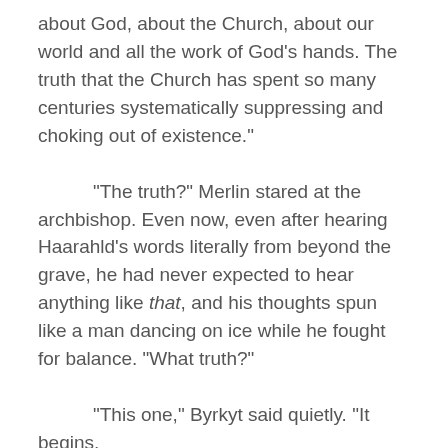about God, about the Church, about our world and all the work of God's hands. The truth that the Church has spent so many centuries systematically suppressing and choking out of existence."
"The truth?" Merlin stared at the archbishop. Even now, even after hearing Haarahld's words literally from beyond the grave, he had never expected to hear anything like that, and his thoughts spun like a man dancing on ice while he fought for balance. "What truth?"
"This one," Byrkyt said quietly. "It begins,